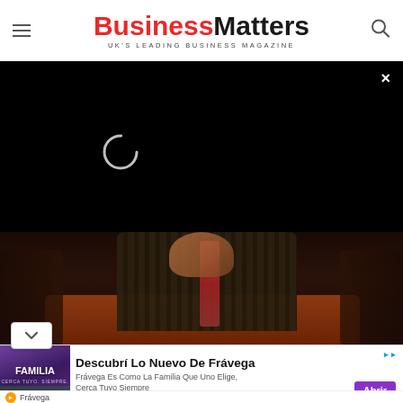Business Matters — UK's Leading Business Magazine
[Figure (screenshot): Black video player overlay with loading spinner and close (×) button in top-right corner]
[Figure (photo): Business executive in pinstripe suit with red tie seated at a dark wooden conference table]
[Figure (screenshot): Advertisement banner: Frávega — 'Descubrí Lo Nuevo De Frávega' with Familia image and purple 'Abrir' button]